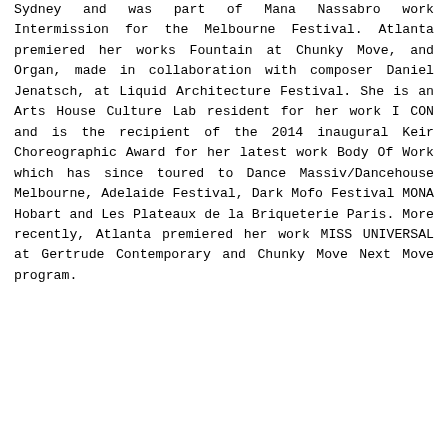Sydney and was part of Mana Nassabro work Intermission for the Melbourne Festival. Atlanta premiered her works Fountain at Chunky Move, and Organ, made in collaboration with composer Daniel Jenatsch, at Liquid Architecture Festival. She is an Arts House Culture Lab resident for her work I CON and is the recipient of the 2014 inaugural Keir Choreographic Award for her latest work Body Of Work which has since toured to Dance Massiv/Dancehouse Melbourne, Adelaide Festival, Dark Mofo Festival MONA Hobart and Les Plateaux de la Briqueterie Paris. More recently, Atlanta premiered her work MISS UNIVERSAL at Gertrude Contemporary and Chunky Move Next Move program.